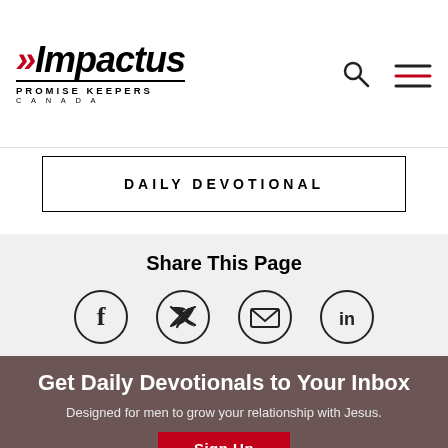[Figure (logo): Impactus Promise Keepers Canada logo with red arrow chevron and italic bold text]
[Figure (other): Search magnifying glass icon]
[Figure (other): Hamburger menu icon (three horizontal lines)]
DAILY DEVOTIONAL
Share This Page
[Figure (other): Social share icons: Facebook, Twitter, Email, LinkedIn in circles]
Get Daily Devotionals to Your Inbox
Designed for men to grow your relationship with Jesus.
[Figure (other): Sign Up button (red background, white text) partially visible at bottom]